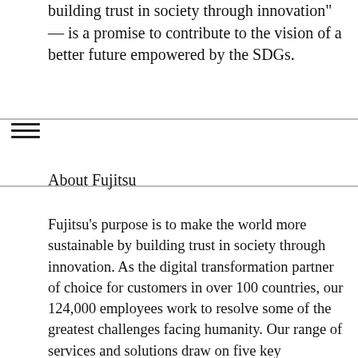building trust in society through innovation" — is a promise to contribute to the vision of a better future empowered by the SDGs.
About Fujitsu
Fujitsu's purpose is to make the world more sustainable by building trust in society through innovation. As the digital transformation partner of choice for customers in over 100 countries, our 124,000 employees work to resolve some of the greatest challenges facing humanity. Our range of services and solutions draw on five key technologies: Computing, Networks, AI, Data & Security, and Converging Technologies, which we bring together to deliver sustainability transformation. Fujitsu Limited (TSE:6702) reported consolidated revenues of 3.6 trillion yen (US$32 billion) for the fiscal year ended March 31, 2022 and remains the top digital services company in Japan by market share. Find out more: